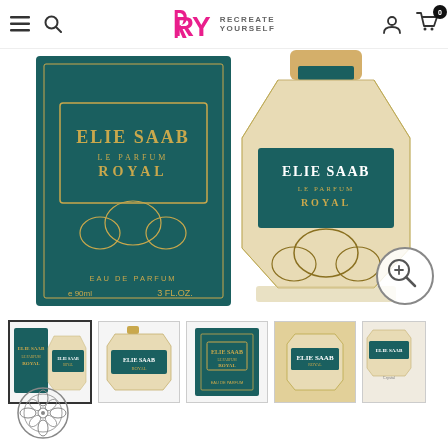RY RECREATE YOURSELF — navigation header with menu, search, account, and cart icons
[Figure (photo): Elie Saab Le Parfum Royal perfume product image showing box (dark teal/green with gold lettering 'ELIE SAAB LE PARFUM ROYAL', EAU DE PARFUM, e 90ml, 3 FL.OZ.) and perfume bottle (faceted crystal-style bottle with teal and gold label) on white background. Zoom icon in bottom-right corner.]
[Figure (photo): Thumbnail 1: Elie Saab Le Parfum Royal box and bottle together (selected/active thumbnail)]
[Figure (photo): Thumbnail 2: Elie Saab Le Parfum Royal bottle only]
[Figure (photo): Thumbnail 3: Elie Saab Le Parfum Royal box only]
[Figure (photo): Thumbnail 4: Elie Saab Le Parfum Royal bottle in golden/warm light]
[Figure (photo): Thumbnail 5: Elie Saab Le Parfum Royal bottles lifestyle shot on light background]
[Figure (logo): Elie Saab circular ornamental logo mark at bottom left]